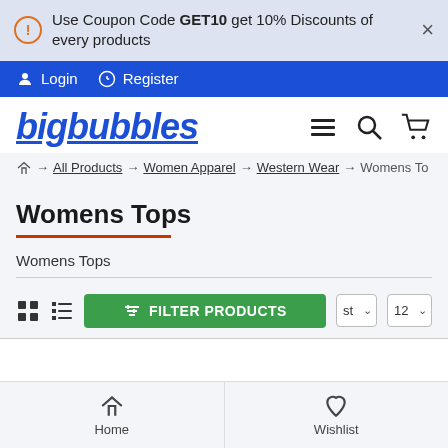Use Coupon Code GET10 get 10% Discounts of every products
Login  Register
bigbubbles
Home → All Products → Women Apparel → Western Wear → Womens To
Womens Tops
Womens Tops
FILTER PRODUCTS
Home   Wishlist